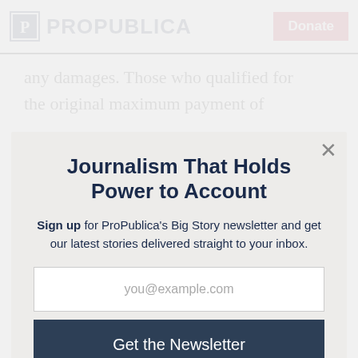ProPublica | Donate
any damages. Those who qualified for the original maximum payment of
Journalism That Holds Power to Account
Sign up for ProPublica's Big Story newsletter and get our latest stories delivered straight to your inbox.
you@example.com
Get the Newsletter
No thanks, I'm all set
This site is protected by reCAPTCHA and the Google Privacy Policy and Terms of Service apply.